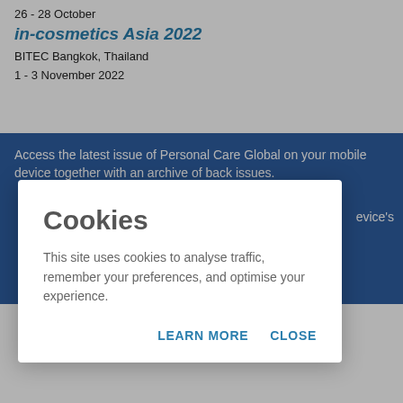26 - 28 October
in-cosmetics Asia 2022
BITEC Bangkok, Thailand
1 - 3 November 2022
Access the latest issue of Personal Care Global on your mobile device together with an archive of back issues.
device's
Cookies
This site uses cookies to analyse traffic, remember your preferences, and optimise your experience.
LEARN MORE   CLOSE
[Figure (photo): Partial photo of a person's face at bottom of page]